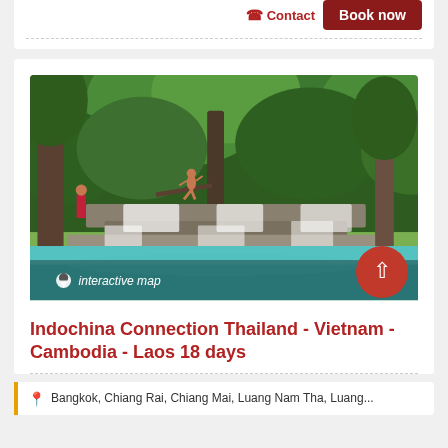Contact
Book now
[Figure (photo): Tropical waterfall scene with turquoise water, lush green jungle trees, and a person sitting on a branch. Overlaid with interactive map pin label and scroll-up button.]
Indochina Connection Thailand - Vietnam - Cambodia - Laos 18 days
interactive map